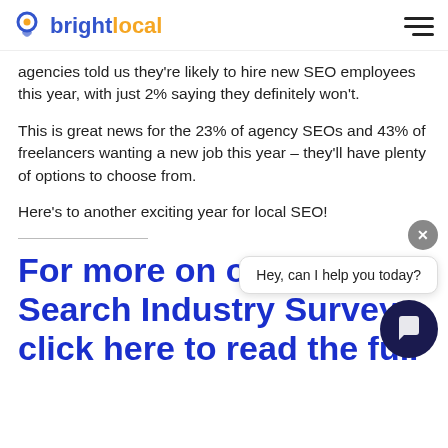brightlocal
agencies told us they're likely to hire new SEO employees this year, with just 2% saying they definitely won't.
This is great news for the 23% of agency SEOs and 43% of freelancers wanting a new job this year – they'll have plenty of options to choose from.
Here's to another exciting year for local SEO!
Hey, can I help you today?
For more on our Local Search Industry Survey click here to read the full